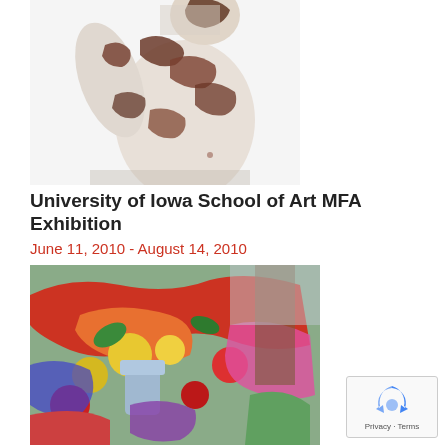[Figure (photo): Black and white photograph of a human torso/figure from behind, showing the back and arm raised, with dark patches on a light body against white background]
University of Iowa School of Art MFA Exhibition
June 11, 2010 - August 14, 2010
[Figure (photo): Colorful expressionist painting of a still life arrangement with fruits and draped fabric in vivid reds, yellows, blues, and greens]
[Figure (other): Google reCAPTCHA widget with Privacy and Terms text]